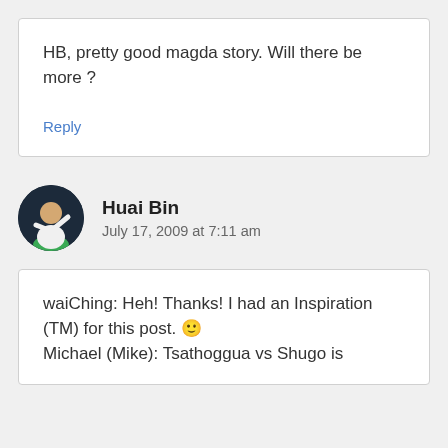HB, pretty good magda story. Will there be more ?
Reply
Huai Bin
July 17, 2009 at 7:11 am
waiChing: Heh! Thanks! I had an Inspiration (TM) for this post. 🙂 Michael (Mike): Tsathoggua vs Shugo is